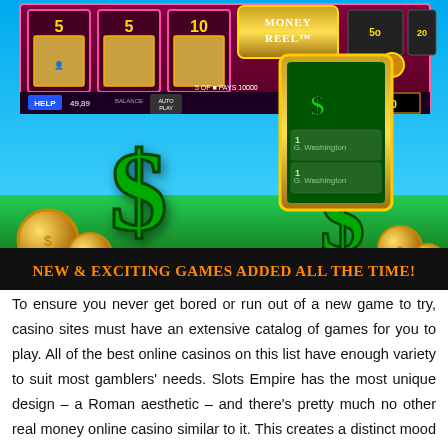[Figure (screenshot): Screenshot of a casino slot machine game called 'Money Reel' showing spinning reels with US president portraits, dollar signs, gold coins, and a green money card. Display shows PAYS 10000, balance 49,894, WIN 10,000.]
NEW & EXCITING GAMES ADDED ALL THE TIME!
To ensure you never get bored or run out of a new game to try, casino sites must have an extensive catalog of games for you to play. All of the best online casinos on this list have enough variety to suit most gamblers' needs. Slots Empire has the most unique design – a Roman aesthetic – and there's pretty much no other real money online casino similar to it. This creates a distinct mood and